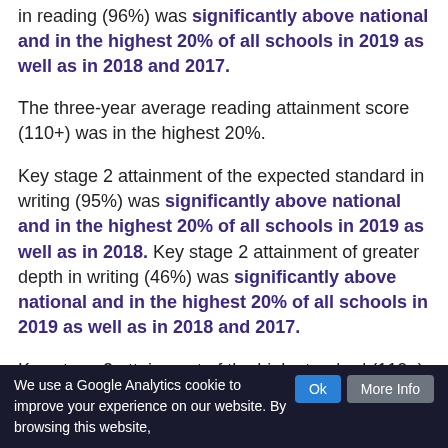in reading (96%) was significantly above national and in the highest 20% of all schools in 2019 as well as in 2018 and 2017.
The three-year average reading attainment score (110+) was in the highest 20%.
Key stage 2 attainment of the expected standard in writing (95%) was significantly above national and in the highest 20% of all schools in 2019 as well as in 2018. Key stage 2 attainment of greater depth in writing (46%) was significantly above national and in the highest 20% of all schools in 2019 as well as in 2018 and 2017.
Key stage 2 attainment of the high standard (110+) in